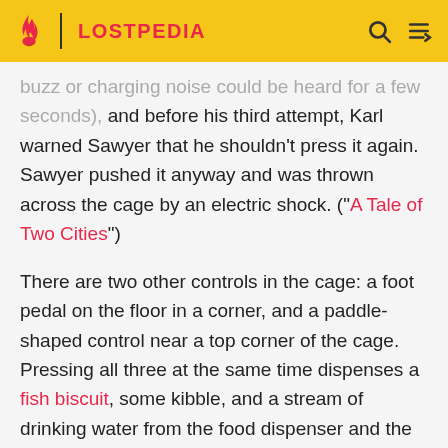LOSTPEDIA
buzz or charging noise could be heard for a few seconds), and before his third attempt, Karl warned Sawyer that he shouldn't press it again. Sawyer pushed it anyway and was thrown across the cage by an electric shock. ("A Tale of Two Cities")
There are two other controls in the cage: a foot pedal on the floor in a corner, and a paddle-shaped control near a top corner of the cage. Pressing all three at the same time dispenses a fish biscuit, some kibble, and a stream of drinking water from the food dispenser and the tiny speaker attached to the dispenser plays a short clip of triumphant march music. The water flows through a pipe leading into a trough.